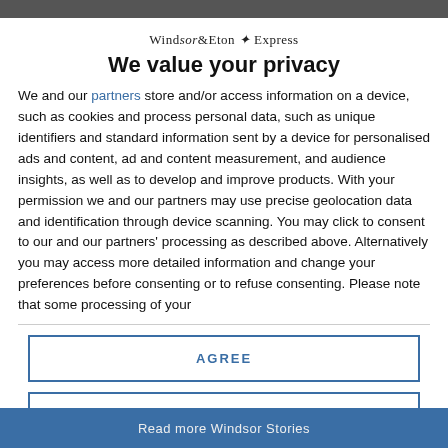[Figure (logo): Windsor & Eton Express newspaper logo]
We value your privacy
We and our partners store and/or access information on a device, such as cookies and process personal data, such as unique identifiers and standard information sent by a device for personalised ads and content, ad and content measurement, and audience insights, as well as to develop and improve products. With your permission we and our partners may use precise geolocation data and identification through device scanning. You may click to consent to our and our partners' processing as described above. Alternatively you may access more detailed information and change your preferences before consenting or to refuse consenting. Please note that some processing of your
AGREE
MORE OPTIONS
Read more Windsor Stories